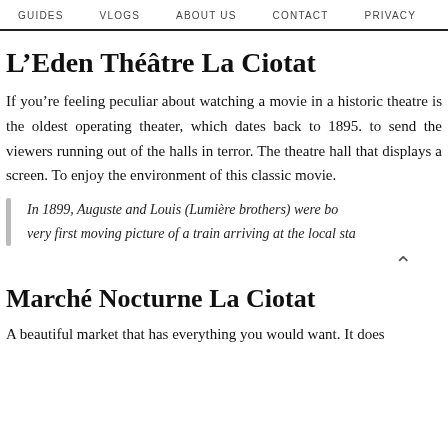GUIDES   VLOGS   ABOUT US   CONTACT   PRIVACY
L’Eden Théâtre La Ciotat
If you’re feeling peculiar about watching a movie in a historic theatre is the oldest operating theater, which dates back to 1895. to send the viewers running out of the halls in terror. The theatre hall that displays a screen. To enjoy the environment of this classic movie.
In 1899, Auguste and Louis (Lumière brothers) were bo... very first moving picture of a train arriving at the local sta...
Marché Nocturne La Ciotat
A beautiful market that has everything you would want. It does